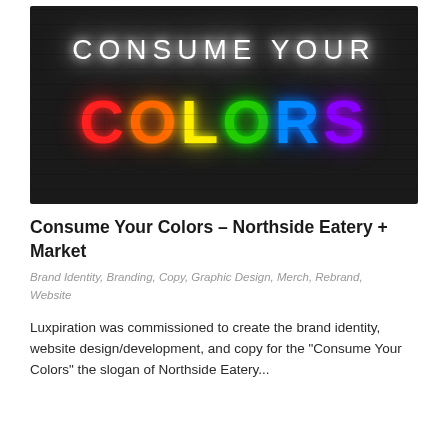[Figure (photo): Neon sign on a dark brick wall reading 'CONSUME YOUR COLORS' where CONSUME YOUR is in white glowing text and COLORS is in multicolored neon letters (C=red, O=orange, L=yellow, O=green, R=blue, S=purple)]
Consume Your Colors – Northside Eatery + Market
Brand Identity, Branding, Copy, Graphic Design, Merch, Rebrand, Website
Luxpiration was commissioned to create the brand identity, website design/development, and copy for the "Consume Your Colors" the slogan of Northside Eatery...